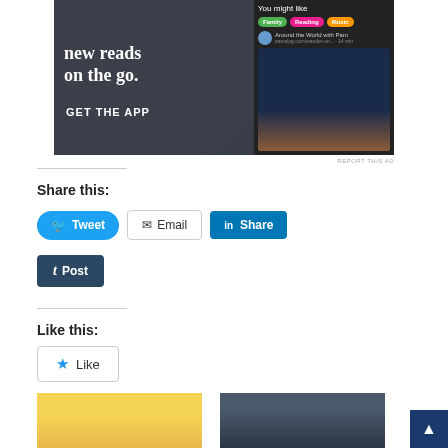[Figure (screenshot): App advertisement banner showing 'new reads on the go.' text with 'GET THE APP' call to action and a phone screenshot with 'You might like' categories (Family, Reading, Music) and 'Around the World with Pam' article]
REPORT THIS AD
Share this:
Tweet
Email
Share
Post
Like this:
Like
Be the first to like this.
[Figure (illustration): Left bottom image with yellow background showing a character illustration]
[Figure (photo): Right bottom image with dark tones showing a building or indoor scene]